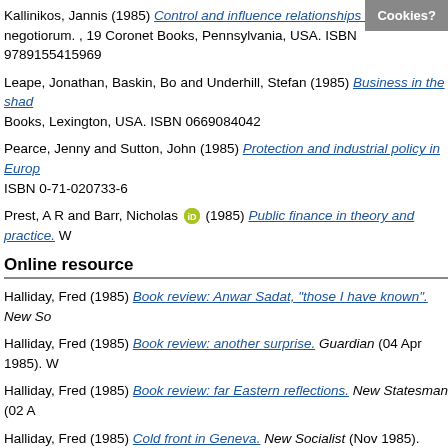Kallinikos, Jannis (1985) Control and influence relationships in m... negotiorum. , 19 Coronet Books, Pennsylvania, USA. ISBN 9789155415969
Leape, Jonathan, Baskin, Bo and Underhill, Stefan (1985) Business in the shad... Books, Lexington, USA. ISBN 0669084042
Pearce, Jenny and Sutton, John (1985) Protection and industrial policy in Euro... ISBN 0-71-020733-6
Prest, A R and Barr, Nicholas [ORCID] (1985) Public finance in theory and practice. W...
Online resource
Halliday, Fred (1985) Book review: Anwar Sadat, "those I have known". New So...
Halliday, Fred (1985) Book review: another surprise. Guardian (04 Apr 1985). W...
Halliday, Fred (1985) Book review: far Eastern reflections. New Statesman (02 A...
Halliday, Fred (1985) Cold front in Geneva. New Socialist (Nov 1985). Website.
Halliday, Fred (1985) Consolidation of rival alliances. Times of India (09 Nov 19...
Halliday, Fred (1985) Fireside chat that doused the 3rd world. New Statesman (...
Halliday, Fred (1985) Guerilla warfare is now being turned against revolutionarie...
Halliday, Fred (1985) Guerilla warfare: rebirth in the '80s. Times of India (10 Jul...
Halliday, Fred (1985) Gulf war persists. In These Times (10 Apr 1985). Website...